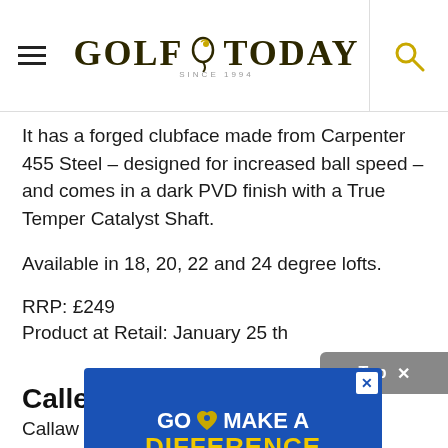GOLF TODAY
It has a forged clubface made from Carpenter 455 Steel – designed for increased ball speed – and comes in a dark PVD finish with a True Temper Catalyst Shaft.
Available in 18, 20, 22 and 24 degree lofts.
RRP: £249
Product at Retail: January 25 th
Calla
Callaw... been
[Figure (infographic): Advertisement banner: Blue background with white and yellow text reading 'GO MAKE A DIFFERENCE #GOLFERSFORUKRAINE' with a heart logo. Has a close X button in top right.]